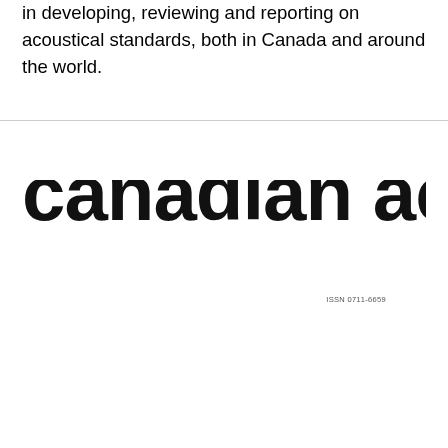in developing, reviewing and reporting on acoustical standards, both in Canada and around the world.
[Figure (logo): Canadian Acoustics / Acoustique canadienne journal logo with large bold text 'canadian acoustics' partially cropped showing bottom half of letters, and ISSN 0711-6659 in small text top right]